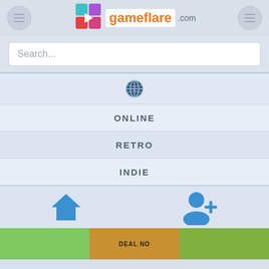[Figure (screenshot): Gameflare.com website header with logo, hamburger menu buttons on left and right, search bar, globe icon, navigation items ONLINE/RETRO/INDIE, home and user-add icons, and game thumbnails at bottom]
Search...
ONLINE
RETRO
INDIE